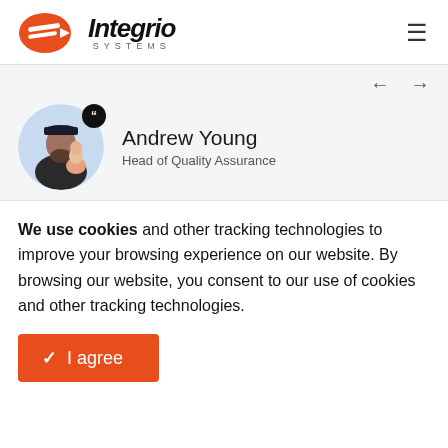[Figure (logo): Integrio Systems logo with orange shield/arrow icon and italic bold 'Integrio' text with 'SYSTEMS' below in spaced caps]
[Figure (photo): Circular avatar photo of Andrew Young (man with beard wearing cap, holding a child), with a dark circular quote badge overlay]
Andrew Young
Head of Quality Assurance
We use cookies and other tracking technologies to improve your browsing experience on our website. By browsing our website, you consent to our use of cookies and other tracking technologies.
✓ I agree